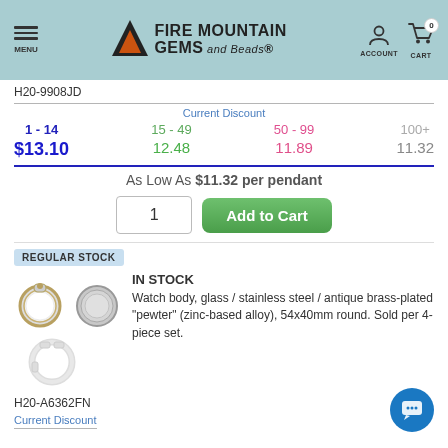[Figure (screenshot): Fire Mountain Gems and Beads website header with navigation menu, logo, account and cart icons]
H20-9908JD
Current Discount
| 1 - 14 | 15 - 49 | 50 - 99 | 100+ |
| --- | --- | --- | --- |
| $13.10 | 12.48 | 11.89 | 11.32 |
As Low As $11.32 per pendant
REGULAR STOCK
IN STOCK
[Figure (photo): Watch body product images showing front and back views plus a ring component]
Watch body, glass / stainless steel / antique brass-plated "pewter" (zinc-based alloy), 54x40mm round. Sold per 4-piece set.
H20-A6362FN
Current Discount